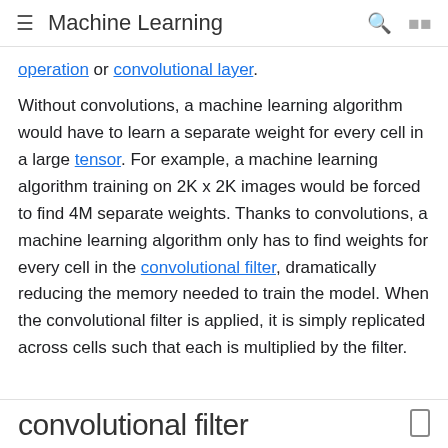Machine Learning
operation or convolutional layer.
Without convolutions, a machine learning algorithm would have to learn a separate weight for every cell in a large tensor. For example, a machine learning algorithm training on 2K x 2K images would be forced to find 4M separate weights. Thanks to convolutions, a machine learning algorithm only has to find weights for every cell in the convolutional filter, dramatically reducing the memory needed to train the model. When the convolutional filter is applied, it is simply replicated across cells such that each is multiplied by the filter.
convolutional filter